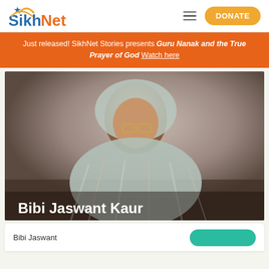[Figure (logo): SikhNet logo with star and arch above text]
Just released! SikhNet Stories presents Guru Nanak and the True Prayer of God Watch here
[Figure (photo): Elderly Sikh woman wearing striped chunni/dupatta and glasses, looking slightly to the side. Text overlay: Bibi Jaswant Kaur]
Bibi Jaswant